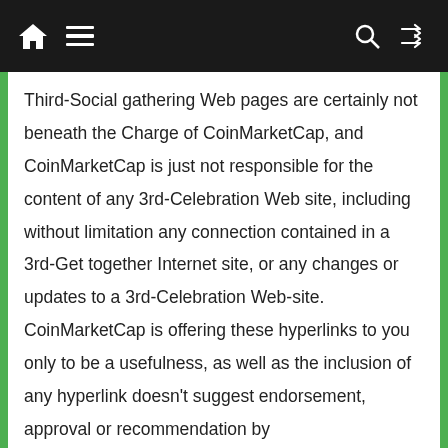[Navigation bar with home, menu, search, and shuffle icons]
Third-Social gathering Web pages are certainly not beneath the Charge of CoinMarketCap, and CoinMarketCap is just not responsible for the content of any 3rd-Celebration Web site, including without limitation any connection contained in a 3rd-Get together Internet site, or any changes or updates to a 3rd-Celebration Web-site. CoinMarketCap is offering these hyperlinks to you only to be a usefulness, as well as the inclusion of any hyperlink doesn't suggest endorsement, approval or recommendation by